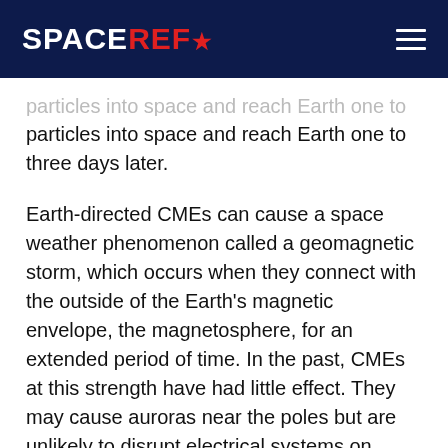SPACEREF*
particles into space and reach Earth one to three days later.
Earth-directed CMEs can cause a space weather phenomenon called a geomagnetic storm, which occurs when they connect with the outside of the Earth's magnetic envelope, the magnetosphere, for an extended period of time. In the past, CMEs at this strength have had little effect. They may cause auroras near the poles but are unlikely to disrupt electrical systems on Earth or interfere with GPS or satellite...